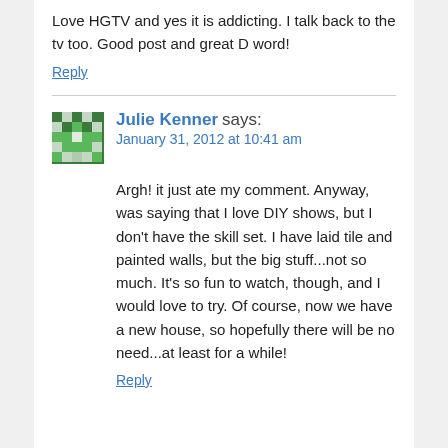Love HGTV and yes it is addicting. I talk back to the tv too. Good post and great D word!
Reply
[Figure (other): Green pixel/mosaic pattern avatar icon for Julie Kenner]
Julie Kenner says:
January 31, 2012 at 10:41 am
Argh! it just ate my comment. Anyway, was saying that I love DIY shows, but I don't have the skill set. I have laid tile and painted walls, but the big stuff...not so much. It's so fun to watch, though, and I would love to try. Of course, now we have a new house, so hopefully there will be no need...at least for a while!
Reply